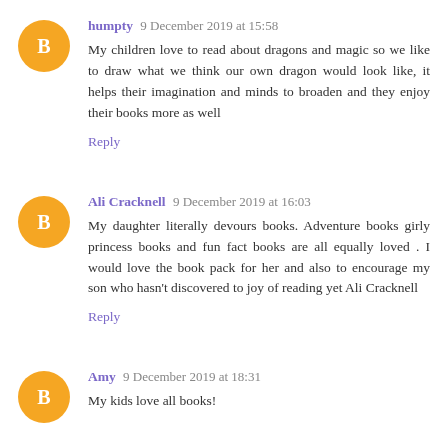humpty 9 December 2019 at 15:58
My children love to read about dragons and magic so we like to draw what we think our own dragon would look like, it helps their imagination and minds to broaden and they enjoy their books more as well
Reply
Ali Cracknell 9 December 2019 at 16:03
My daughter literally devours books. Adventure books girly princess books and fun fact books are all equally loved . I would love the book pack for her and also to encourage my son who hasn't discovered to joy of reading yet Ali Cracknell
Reply
Amy 9 December 2019 at 18:31
My kids love all books!